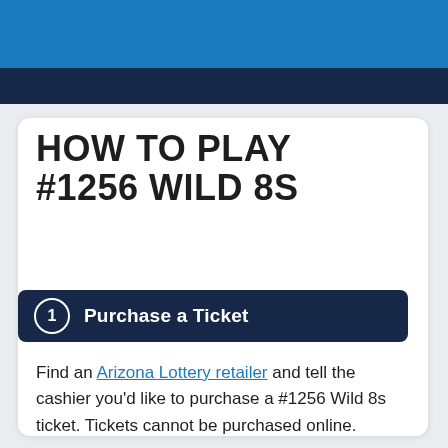HOW TO PLAY #1256 WILD 8S
1  Purchase a Ticket
Find an Arizona Lottery retailer and tell the cashier you'd like to purchase a #1256 Wild 8s ticket. Tickets cannot be purchased online.